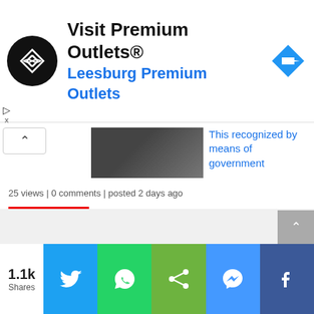[Figure (screenshot): Advertisement banner for Premium Outlets / Leesburg Premium Outlets with circular black logo and blue navigation arrow icon]
This recognized by means of government
25 views | 0 comments | posted 2 days ago
Vidhi Center's New Book Says Nullification Of Article 370 Unconstitutional | Arabian Post
23 views | 0 comments | posted 7 days ago
[Figure (screenshot): Social share bar with 1.1k Shares, Twitter, WhatsApp, share, Messenger, Facebook buttons]